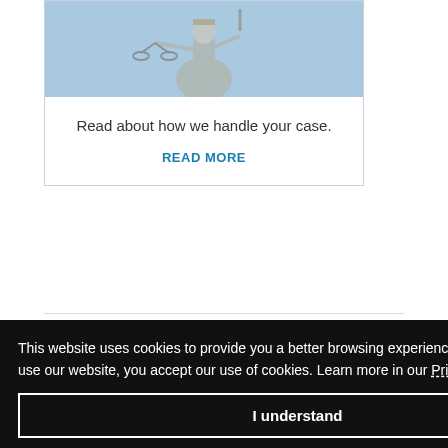[Figure (photo): Lady Justice statue holding scales, photographed against a blue sky]
Read about how we handle your case.
READ MORE
tion
ive a free
ation
This website uses cookies to provide you a better browsing experience. By continuing to use our website, you accept our use of cookies. Learn more in our Privacy Policy.
I understand
Your Name